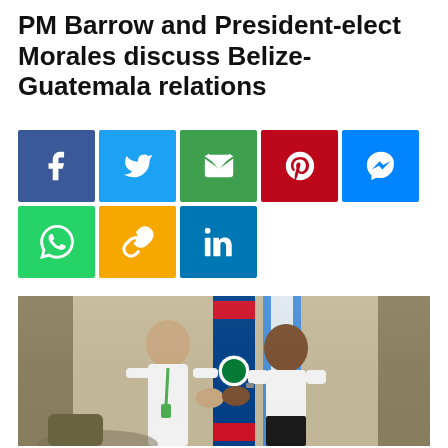PM Barrow and President-elect Morales discuss Belize-Guatemala relations
[Figure (infographic): Social media sharing buttons: Facebook (blue), Twitter (light blue), Email (green), Pinterest (red), Messenger (blue), WhatsApp (green), Copy link (yellow/orange), LinkedIn (blue)]
[Figure (photo): Two men shaking hands in front of the Belize flag and a light blue flag. The man on the left wears a white shirt, the man on the right wears a white short-sleeve shirt and black trousers.]